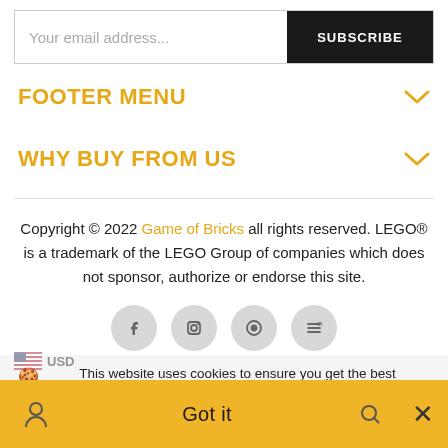Your email address...
SUBSCRIBE
FOOTER MENU
WHY BUY FROM US
Copyright © 2022 Game of Bricks all rights reserved. LEGO® is a trademark of the LEGO Group of companies which does not sponsor, authorize or endorse this site.
🍪 This website uses cookies to ensure you get the best experience on our website. Learn more
Got it